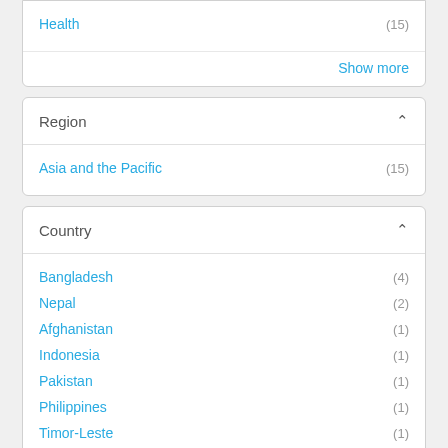Health (15)
Show more
Region
Asia and the Pacific (15)
Country
Bangladesh (4)
Nepal (2)
Afghanistan (1)
Indonesia (1)
Pakistan (1)
Philippines (1)
Timor-Leste (1)